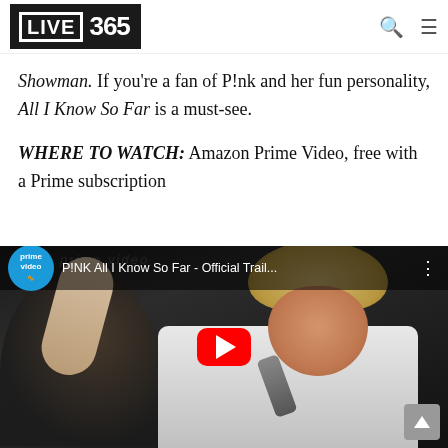LIVE 365
Showman. If you're a fan of P!nk and her fun personality, All I Know So Far is a must-see.
WHERE TO WATCH: Amazon Prime Video, free with a Prime subscription
[Figure (screenshot): YouTube video embed showing P!NK All I Know So Far - Official Trail... with Prime Video logo badge, red YouTube play button overlaid on concert photo of performer singing.]